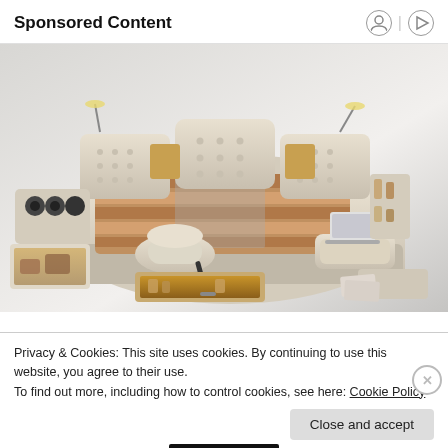Sponsored Content
[Figure (photo): A multi-functional luxury bed with built-in speakers, massage chair, storage drawers, reading lamps, laptop stand, and various compartments.]
Privacy & Cookies: This site uses cookies. By continuing to use this website, you agree to their use.
To find out more, including how to control cookies, see here: Cookie Policy
Close and accept